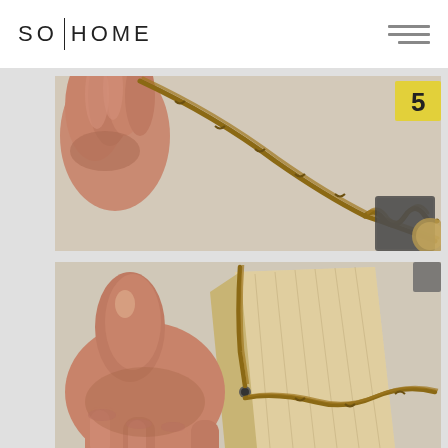SO|HOME
[Figure (photo): Close-up photo of a hand holding twine/jute rope against a light background, with craft supplies visible in the corner]
[Figure (photo): Close-up photo of a hand threading twine/jute rope through a hole in a wooden block or frame piece]